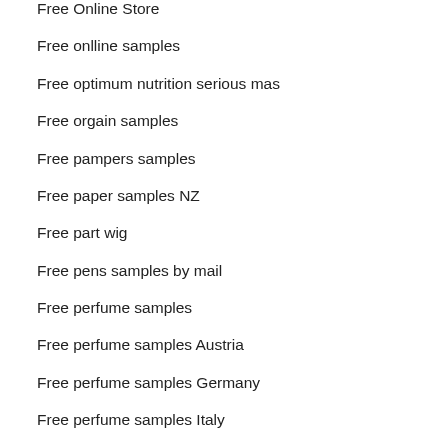Free Online Store
Free onlline samples
Free optimum nutrition serious mas
Free orgain samples
Free pampers samples
Free paper samples NZ
Free part wig
Free pens samples by mail
Free perfume samples
Free perfume samples Austria
Free perfume samples Germany
Free perfume samples Italy
Free perfume samples Mexico
Free perfume samples Spain